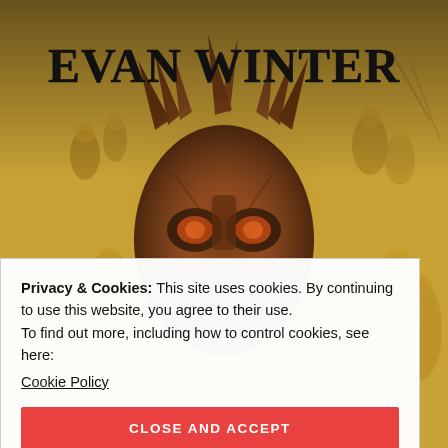[Figure (illustration): Book cover for 'Vengeance' by Evan Winter. Features a dramatic fantasy illustration: a dark dragon/demon mask at the center surrounded by golden-toned figures and crowd scenes. The author name 'EVAN WINTER' appears in large black serif text at the top. The partial title 'VENGEANCE' is visible at the bottom in large golden serif text. Warm amber and gold color palette.]
Privacy & Cookies: This site uses cookies. By continuing to use this website, you agree to their use.
To find out more, including how to control cookies, see here:
Cookie Policy
CLOSE AND ACCEPT